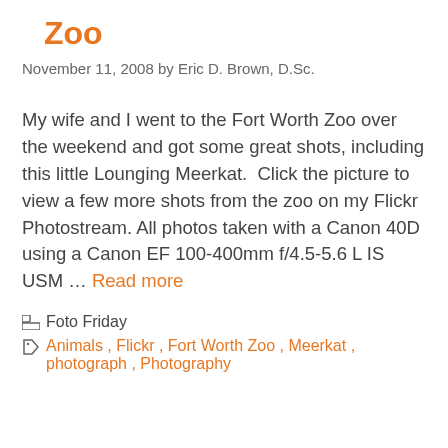Zoo
November 11, 2008 by Eric D. Brown, D.Sc.
My wife and I went to the Fort Worth Zoo over the weekend and got some great shots, including this little Lounging Meerkat.  Click the picture to view a few more shots from the zoo on my Flickr Photostream. All photos taken with a Canon 40D using a Canon EF 100-400mm f/4.5-5.6 L IS USM … Read more
Foto Friday
Animals , Flickr , Fort Worth Zoo , Meerkat , photograph , Photography